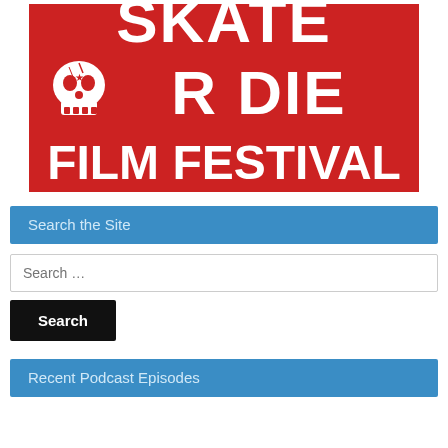[Figure (logo): Skate or Die Film Festival logo — bold red text on white background with skull graphic. Top portion shows 'SKATE OR DIE' in large red block letters (partially cropped at top), a white skull icon on the left of the second line, and 'FILM FESTIVAL' in large red bold letters at the bottom.]
Search the Site
Search …
Search
Recent Podcast Episodes